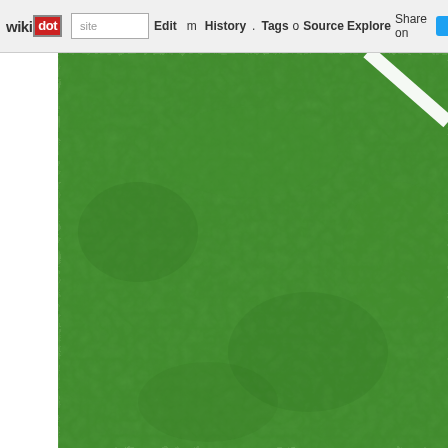wikidot | site | Edit | History | Tags | Source | Explore | Share on Twitter
[Figure (photo): Close-up photograph of green artificial turf or textured green carpet surface, with a white line visible in the upper-right corner. The texture is dense and fibrous with a mottled, curly pattern throughout.]